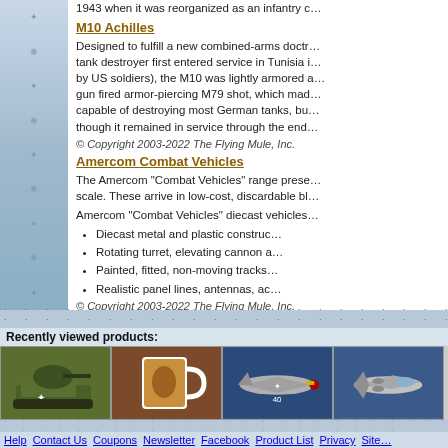1943 when it was reorganized as an infantry c…
M10 Achilles
Designed to fulfill a new combined-arms doctr… tank destroyer first entered service in Tunisia i… by US soldiers), the M10 was lightly armored a… gun fired armor-piercing M79 shot, which mad… capable of destroying most German tanks, bu… though it remained in service through the end…
© Copyright 2003-2022 The Flying Mule, Inc.
Amercom Combat Vehicles
The Amercom "Combat Vehicles" range prese… scale. These arrive in low-cost, discardable bl…
Amercom "Combat Vehicles" diecast vehicles…
Diecast metal and plastic construc…
Rotating turret, elevating cannon a…
Painted, fitted, non-moving tracks…
Realistic panel lines, antennas, ac…
© Copyright 2003-2022 The Flying Mule, Inc.
Recently viewed products:
[Figure (photo): Military tank model on green base]
[Figure (photo): Coffee mug with military artwork on brown background]
[Figure (photo): P-51 Mustang airplane model on blue background]
[Figure (photo): Military aircraft model on blue background]
Help  Contact Us  Coupons  Newsletter  Facebook  Product List  Privacy  Site…